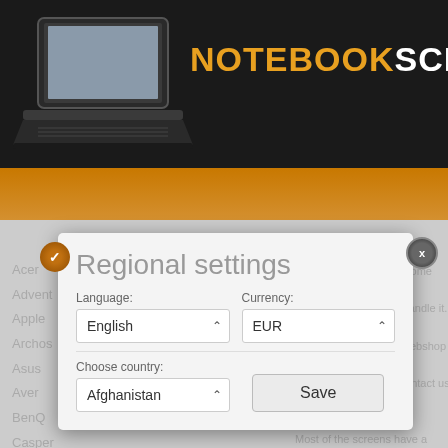[Figure (screenshot): NotebookScreen website header with laptop logo image and site name 'NOTEBOOKSCRE' in orange and white on dark background, with orange gradient band below]
Acer
Advent
Apple
Archos
Asus
Aver
BenQ
Casper
Replacing a screen at home only ta... electronics can easily handle it.
The NotebookScreen webshop is co... are missing. You can contact us wit...
Most of the screens have a counter... we will list it as compatible type.
Regional settings
Language:
English
Currency:
EUR
Choose country:
Afghanistan
Save